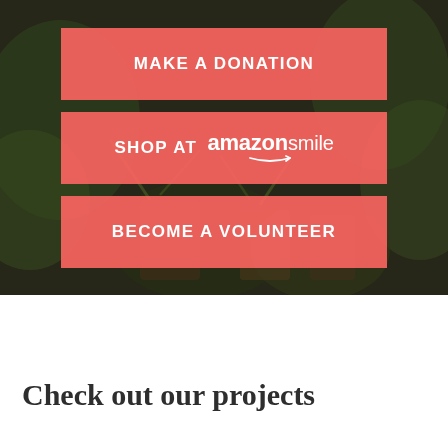[Figure (photo): Dark background photo of green plants and seedlings in pots, serving as hero image backdrop]
MAKE A DONATION
SHOP AT amazonsmile
BECOME A VOLUNTEER
Check out our projects